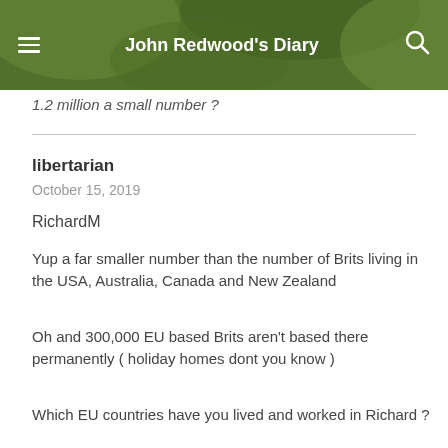John Redwood's Diary
1.2 million a small number ?
libertarian
October 15, 2019
RichardM
Yup a far smaller number than the number of Brits living in the USA, Australia, Canada and New Zealand
Oh and 300,000 EU based Brits aren't based there permanently ( holiday homes dont you know )
Which EU countries have you lived and worked in Richard ?